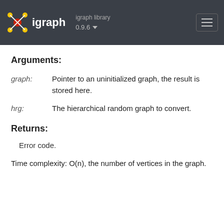igraph library 0.9.6 — igraph
Arguments:
graph: Pointer to an uninitialized graph, the result is stored here.
hrg: The hierarchical random graph to convert.
Returns:
Error code.
Time complexity: O(n), the number of vertices in the graph.